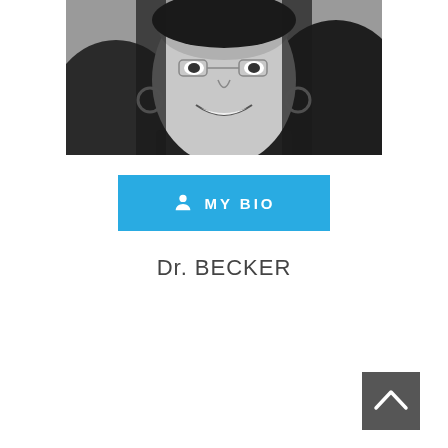[Figure (photo): Black and white portrait photo of a smiling woman with dark hair, wearing hoop earrings and a dark top.]
MY BIO
Dr. BECKER